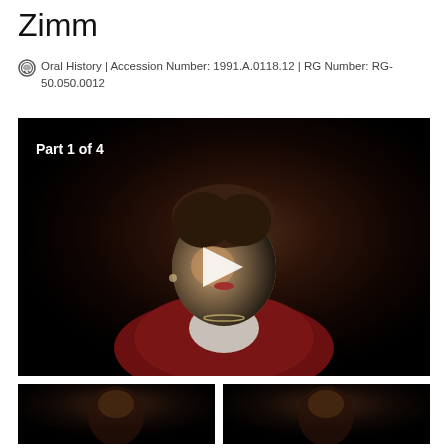Zimm
Oral History | Accession Number: 1991.A.0118.12 | RG Number: RG-50.050.0012
[Figure (photo): Video thumbnail showing a woman in a red jacket being interviewed against a dark background, with 'Part 1 of 4' text overlay and a play button in the center.]
[Figure (photo): Small thumbnail image on the left showing a dark interview scene.]
[Figure (photo): Small thumbnail image on the right showing a dark interview scene.]